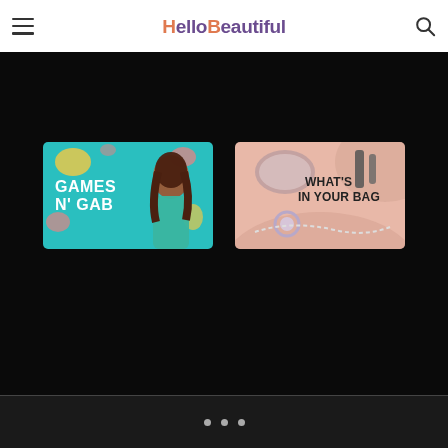HelloBeautiful
[Figure (illustration): Games N' Gab show thumbnail: teal background with colorful shapes, woman posing, bold white text 'GAMES N' GAB']
[Figure (illustration): What's In Your Bag show thumbnail: pink/peach background with beauty products, bold text 'WHAT'S IN YOUR BAG']